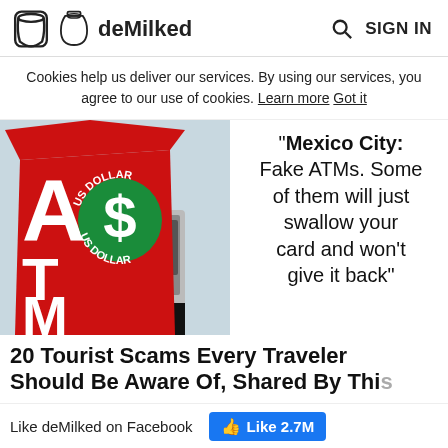deMilked  SIGN IN
Cookies help us deliver our services. By using our services, you agree to our use of cookies. Learn more  Got it
[Figure (photo): Photo of a red fake ATM machine with 'A T M', 'US DOLLAR' text and a green dollar sign logo on the front panel.]
"Mexico City: Fake ATMs. Some of them will just swallow your card and won't give it back"
20 Tourist Scams Every Traveler Should Be Aware Of, Shared By This TikTo...
Like deMilked on Facebook  Like 2.7M